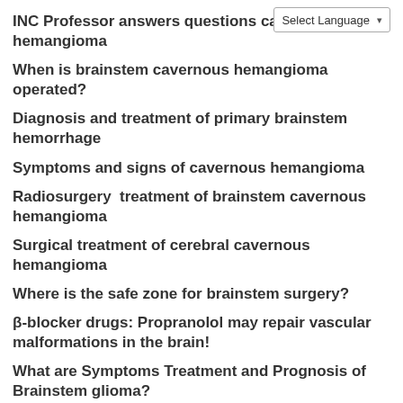INC Professor answers questions cavernous hemangioma
When is brainstem cavernous hemangioma operated?
Diagnosis and treatment of primary brainstem hemorrhage
Symptoms and signs of cavernous hemangioma
Radiosurgery treatment of brainstem cavernous hemangioma
Surgical treatment of cerebral cavernous hemangioma
Where is the safe zone for brainstem surgery?
β-blocker drugs: Propranolol may repair vascular malformations in the brain!
What are Symptoms Treatment and Prognosis of Brainstem glioma?
RECENT POSTS
AstraZeneca blocks ex-executives from joining GSK and